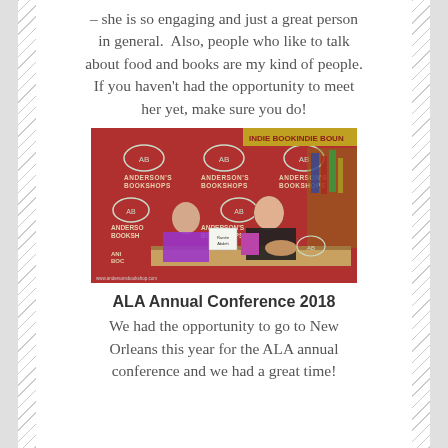– she is so engaging and just a great person in general.  Also, people who like to talk about food and books are my kind of people. If you haven't had the opportunity to meet her yet, make sure you do!
[Figure (photo): Two women seated at a table at Anderson's Bookshops signing event, with red Anderson's Bookshops branded backdrop and Indie Boun(d) banner visible behind them. A book sign reads 'Ranée Abdeh'. One woman wears purple, the other black.]
ALA Annual Conference 2018
We had the opportunity to go to New Orleans this year for the ALA annual conference and we had a great time!